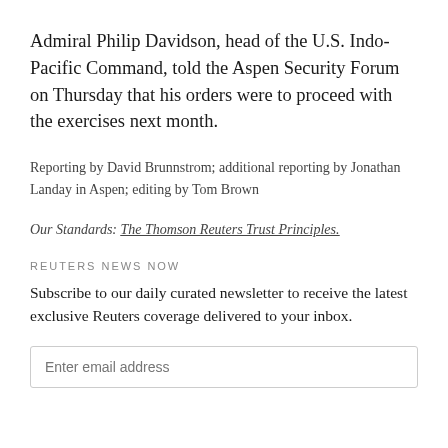Admiral Philip Davidson, head of the U.S. Indo-Pacific Command, told the Aspen Security Forum on Thursday that his orders were to proceed with the exercises next month.
Reporting by David Brunnstrom; additional reporting by Jonathan Landay in Aspen; editing by Tom Brown
Our Standards: The Thomson Reuters Trust Principles.
REUTERS NEWS NOW
Subscribe to our daily curated newsletter to receive the latest exclusive Reuters coverage delivered to your inbox.